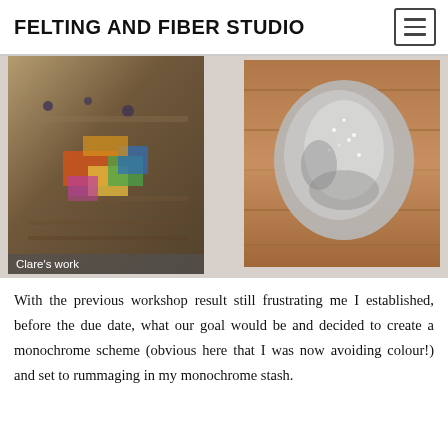FELTING AND FIBER STUDIO
[Figure (photo): Two photos side by side: left shows Clare's colorful felted textile work with a caption overlay reading 'Clare’s work'; right shows a monochrome felted piece on a wooden surface.]
With the previous workshop result still frustrating me I established, before the due date, what our goal would be and decided to create a monochrome scheme (obvious here that I was now avoiding colour!) and set to rummaging in my monochrome stash.